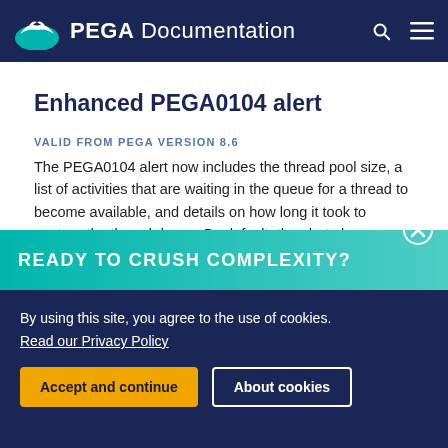PEGA Documentation
Enhanced PEGA0104 alert
VALID FROM PEGA VERSION 8.6
The PEGA0104 alert now includes the thread pool size, a list of activities that are waiting in the queue for a thread to become available, and details on how long it took to capture the thread dump.  By default, the alert also includes the
READY TO CRUSH COMPLEXITY?
By using this site, you agree to the use of cookies.
Read our Privacy Policy
Accept and continue
About cookies